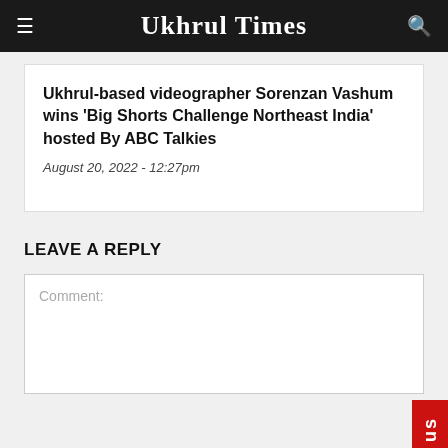Ukhrul Times
Ukhrul-based videographer Sorenzan Vashum wins 'Big Shorts Challenge Northeast India' hosted By ABC Talkies
August 20, 2022 - 12:27pm
LEAVE A REPLY
Comment: